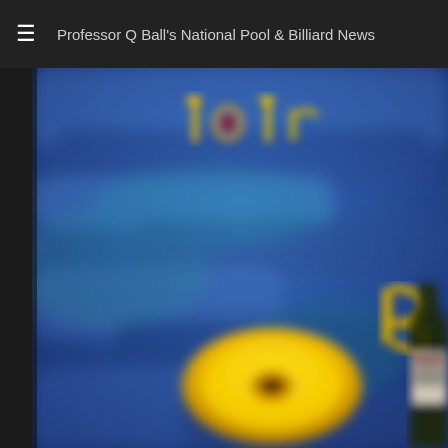Professor Q Ball's National Pool & Billiard News
[Figure (photo): Blurred close-up of a blue textured background with partial yellow decorative text reading 'To Tr' at the top, a large yellow oval/medallion shape in the lower center, and partial view of a bottle with label on the lower right. Appears to be a book cover or magazine cover related to pool/billiards.]